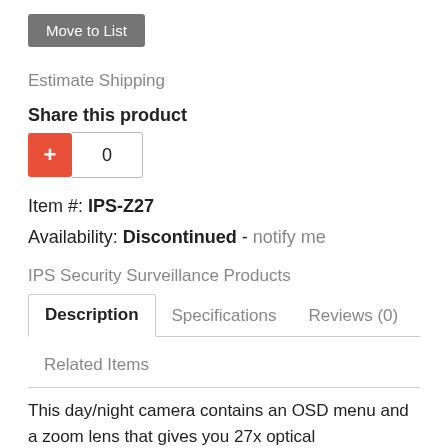Move to List
Estimate Shipping
Share this product
[Figure (other): Red plus button with count box showing 0]
Item #: IPS-Z27
Availability: Discontinued - notify me
IPS Security Surveillance Products
Description | Specifications | Reviews (0)
Related Items
This day/night camera contains an OSD menu and a zoom lens that gives you 27x optical magnification. Digital zoom